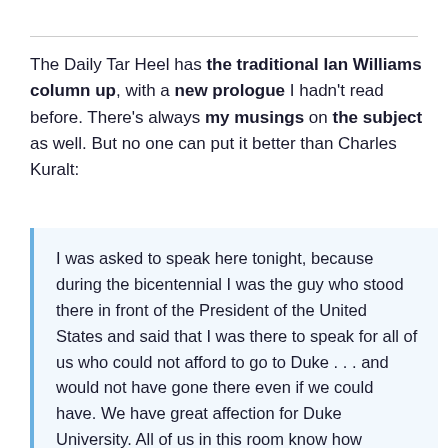The Daily Tar Heel has the traditional Ian Williams column up, with a new prologue I hadn't read before. There's always my musings on the subject as well. But no one can put it better than Charles Kuralt:
I was asked to speak here tonight, because during the bicentennial I was the guy who stood there in front of the President of the United States and said that I was there to speak for all of us who could not afford to go to Duke . . . and would not have gone there even if we could have. We have great affection for Duke University. All of us in this room know how important it is to our state, and know how important the rivalry is. And if there had never been a Duke (which of course there was not being a part of the distinguished history of the...